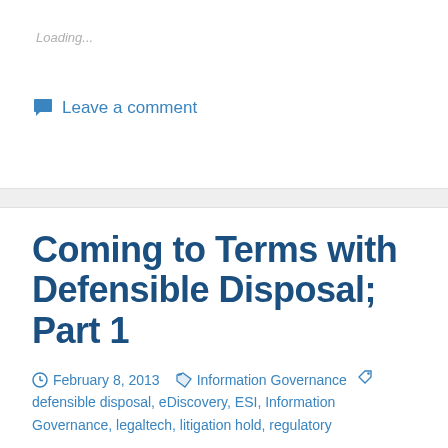Loading...
Leave a comment
Coming to Terms with Defensible Disposal; Part 1
February 8, 2013   Information Governance   defensible disposal, eDiscovery, ESI, Information Governance, legaltech, litigation hold, regulatory